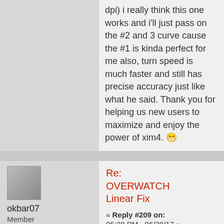dpi) i really think this one works and i'll just pass on the #2 and 3 curve cause the #1 is kinda perfect for me also, turn speed is much faster and still has precise accuracy just like what he said. Thank you for helping us new users to maximize and enjoy the power of xim4. 😁
Logged
[Figure (illustration): User avatar placeholder - gray square]
okbar07
Member
member
Posts: 1
[Figure (illustration): Person silhouette icon]
Re: OVERWATCH Linear Fix
« Reply #209 on: 05:28 PM - 06/30/17 »